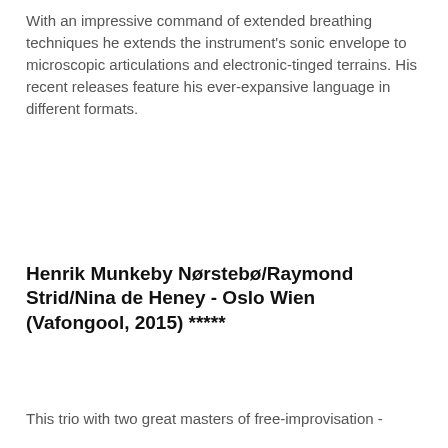With an impressive command of extended breathing techniques he extends the instrument's sonic envelope to microscopic articulations and electronic-tinged terrains. His recent releases feature his ever-expansive language in different formats.
Henrik Munkeby Nørstebø/Raymond Strid/Nina de Heney - Oslo Wien (Vafongool, 2015) *****
[Figure (photo): Album cover for 'Oslo Wien' - dark grey/teal background with 'OSLO WIEN' title in large white letters at top, a white wave/sound-shape graphic in the middle, and artist names listed below: Henrik Munkeby NØRSTEBØ (trombone), Raymond STRD (drums), Nina DE HENEY (double bass)]
This trio with two great masters of free-improvisation -